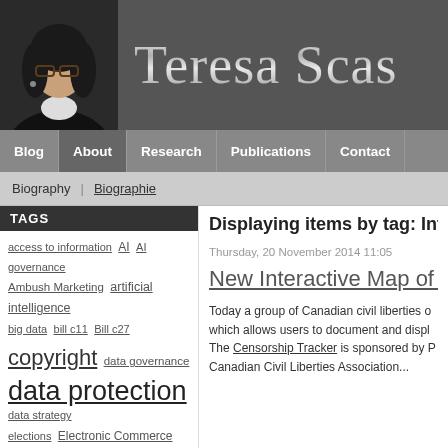[Figure (photo): Website header banner with a photo of Teresa Scassa on the left and her name in large metallic serif text on a dark grey background]
Blog | About | Research | Publications | Contact
Biography | Biographie
TAGS
access to information  AI  AI governance
Ambush Marketing  artificial intelligence
big data  bill c11  Bill c27
copyright  data governance
data protection  data strategy
elections  Electronic Commerce
freedom of expression  Geospatial
geospatial data
Displaying items by tag: Int...
Thursday, 20 November 2014 11:05
New Interactive Map of Ce...
Today a group of Canadian civil liberties o... which allows users to document and displ... The Censorship Tracker is sponsored by P... Canadian Civil Liberties Association...